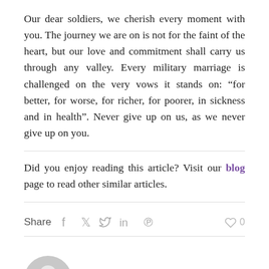Our dear soldiers, we cherish every moment with you. The journey we are on is not for the faint of the heart, but our love and commitment shall carry us through any valley. Every military marriage is challenged on the very vows it stands on: “for better, for worse, for richer, for poorer, in sickness and in health”. Never give up on us, as we never give up on you.
Did you enjoy reading this article? Visit our blog page to read other similar articles.
Share  f  in  ❤ 0
[Figure (illustration): Circular grey avatar/profile icon placeholder]
admin